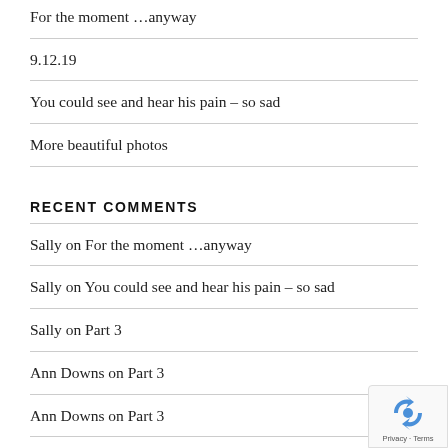For the moment …anyway
9.12.19
You could see and hear his pain – so sad
More beautiful photos
RECENT COMMENTS
Sally on For the moment …anyway
Sally on You could see and hear his pain – so sad
Sally on Part 3
Ann Downs on Part 3
Ann Downs on Part 3